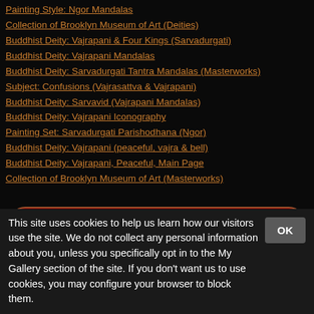Painting Style: Ngor Mandalas
Collection of Brooklyn Museum of Art (Deities)
Buddhist Deity: Vajrapani & Four Kings (Sarvadurgati)
Buddhist Deity: Vajrapani Mandalas
Buddhist Deity: Sarvadurgati Tantra Mandalas (Masterworks)
Subject: Confusions (Vajrasattva & Vajrapani)
Buddhist Deity: Sarvavid (Vajrapani Mandalas)
Buddhist Deity: Vajrapani Iconography
Painting Set: Sarvadurgati Parishodhana (Ngor)
Buddhist Deity: Vajrapani (peaceful, vajra & bell)
Buddhist Deity: Vajrapani, Peaceful, Main Page
Collection of Brooklyn Museum of Art (Masterworks)
← Previous Item    Next Item →
Copyright © 2022 Himalayan Art Resources Inc. Photograph © Copyright the Brooklyn Museum...
This site uses cookies to help us learn how our visitors use the site. We do not collect any personal information about you, unless you specifically opt in to the My Gallery section of the site. If you don't want us to use cookies, you may configure your browser to block them.